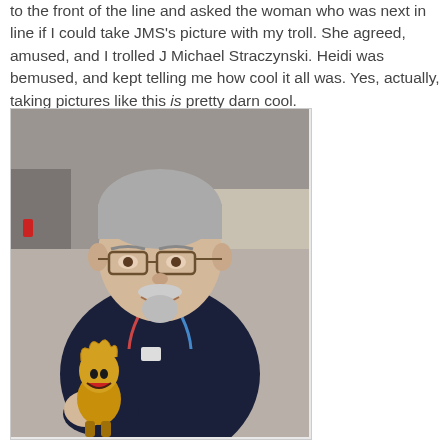to the front of the line and asked the woman who was next in line if I could take JMS's picture with my troll. She agreed, amused, and I trolled J Michael Straczynski. Heidi was bemused, and kept telling me how cool it all was. Yes, actually, taking pictures like this is pretty darn cool.
[Figure (photo): A middle-aged man with gray hair and glasses, wearing a dark navy sweater and a lanyard badge, sitting at a table at what appears to be a convention. He is holding a small troll figurine with a grinning face. Tables and people are visible in the background.]